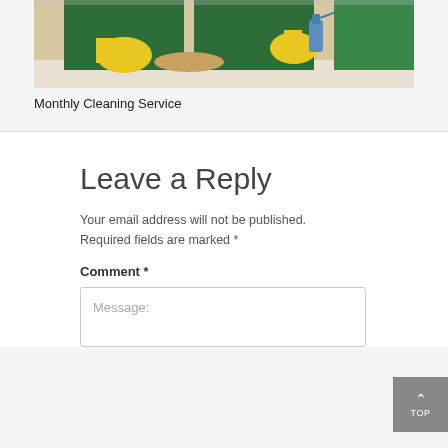[Figure (photo): Cleaning service worker with yellow rubber gloves spraying and wiping a surface, wearing a dark green uniform]
Monthly Cleaning Service
Leave a Reply
Your email address will not be published. Required fields are marked *
Comment *
Message: